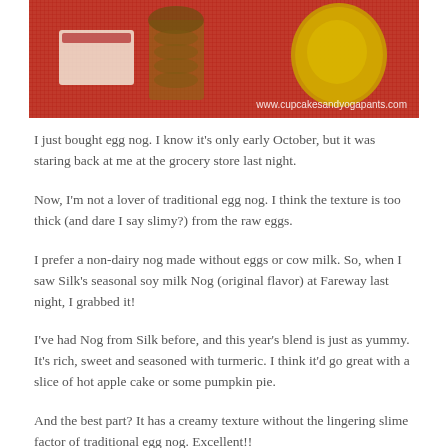[Figure (photo): Photo of egg nog product on red textured background with watermark www.cupcakesandyogapants.com]
I just bought egg nog. I know it's only early October, but it was staring back at me at the grocery store last night.
Now, I'm not a lover of traditional egg nog. I think the texture is too thick (and dare I say slimy?) from the raw eggs.
I prefer a non-dairy nog made without eggs or cow milk. So, when I saw Silk's seasonal soy milk Nog (original flavor) at Fareway last night, I grabbed it!
I've had Nog from Silk before, and this year's blend is just as yummy. It's rich, sweet and seasoned with turmeric. I think it'd go great with a slice of hot apple cake or some pumpkin pie.
And the best part? It has a creamy texture without the lingering slime factor of traditional egg nog. Excellent!!
Do you enjoy egg nog?